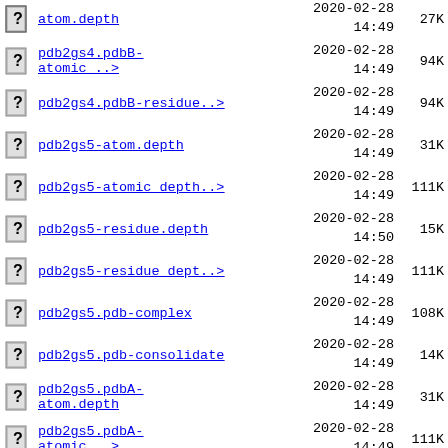atom.depth  2020-02-28 14:49  27K
pdb2gs4.pdbB-atomic_..>  2020-02-28 14:49  94K
pdb2gs4.pdbB-residue..>  2020-02-28 14:49  94K
pdb2gs5-atom.depth  2020-02-28 14:49  31K
pdb2gs5-atomic_depth..>  2020-02-28 14:49  111K
pdb2gs5-residue.depth  2020-02-28 14:50  15K
pdb2gs5-residue_dept..>  2020-02-28 14:49  111K
pdb2gs5.pdb-complex  2020-02-28 14:49  108K
pdb2gs5.pdb-consolidate  2020-02-28 14:49  14K
pdb2gs5.pdbA-atom.depth  2020-02-28 14:49  31K
pdb2gs5.pdbA-atomic_..>  2020-02-28 14:49  111K
pdb2gs5.pdbA-residue..>  2020-02-28 14:49  111K